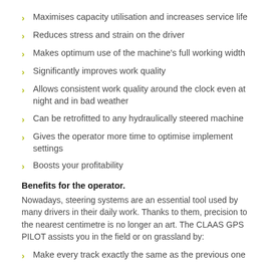Maximises capacity utilisation and increases service life
Reduces stress and strain on the driver
Makes optimum use of the machine's full working width
Significantly improves work quality
Allows consistent work quality around the clock even at night and in bad weather
Can be retrofitted to any hydraulically steered machine
Gives the operator more time to optimise implement settings
Boosts your profitability
Benefits for the operator.
Nowadays, steering systems are an essential tool used by many drivers in their daily work. Thanks to them, precision to the nearest centimetre is no longer an art. The CLAAS GPS PILOT assists you in the field or on grassland by:
Make every track exactly the same as the previous one